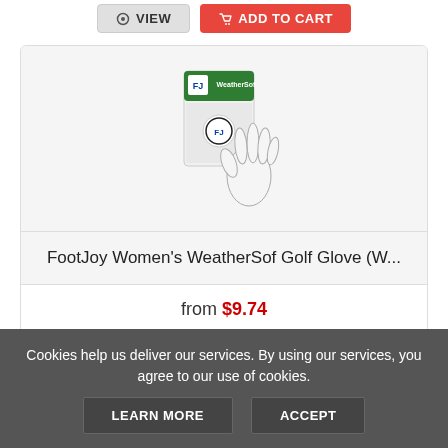[Figure (screenshot): Top portion showing VIEW and ADD TO CART buttons from a previous product card]
[Figure (photo): FootJoy Women's WeatherSof Golf Glove product image showing a white golf glove in packaging]
FootJoy Women's WeatherSof Golf Glove (W...
from $9.74
Cookies help us deliver our services. By using our services, you agree to our use of cookies.
LEARN MORE
ACCEPT